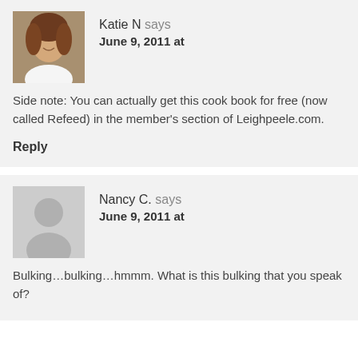[Figure (photo): Avatar photo of Katie N, a woman with curly hair]
Katie N says
June 9, 2011 at
Side note: You can actually get this cook book for free (now called Refeed) in the member's section of Leighpeele.com.
Reply
[Figure (illustration): Generic grey avatar placeholder silhouette for Nancy C.]
Nancy C. says
June 9, 2011 at
Bulking…bulking…hmmm. What is this bulking that you speak of?
Reply